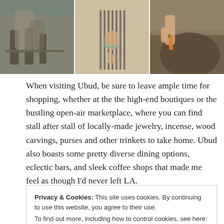[Figure (photo): Three photos side by side: left shows monkey feet/hands detail, center shows woman in striped dress holding something, right shows a hand feeding an animal]
When visiting Ubud, be sure to leave ample time for shopping, whether at the the high-end boutiques or the bustling open-air marketplace, where you can find stall after stall of locally-made jewelry, incense, wood carvings, purses and other trinkets to take home. Ubud also boasts some pretty diverse dining options, eclectic bars, and sleek coffee shops that made me feel as though I'd never left LA.
Speaking of coffee, you may have heard of one of
Privacy & Cookies: This site uses cookies. By continuing to use this website, you agree to their use.
To find out more, including how to control cookies, see here: Cookie Policy
point the berries are cleaned and the coffee beans